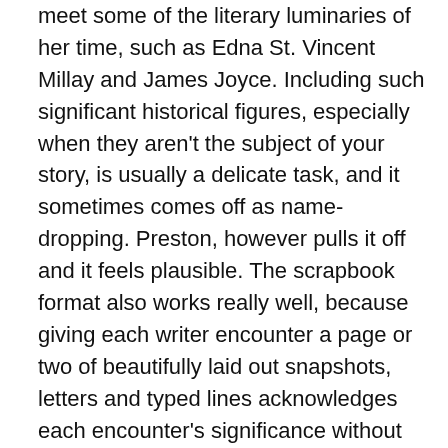meet some of the literary luminaries of her time, such as Edna St. Vincent Millay and James Joyce. Including such significant historical figures, especially when they aren't the subject of your story, is usually a delicate task, and it sometimes comes off as name-dropping. Preston, however pulls it off and it feels plausible. The scrapbook format also works really well, because giving each writer encounter a page or two of beautifully laid out snapshots, letters and typed lines acknowledges each encounter's significance without either overwhelming us or trying too hard to be casual about it. Frankie's scrapbook gives the impression that meeting James Joyce for work is as important to her as a letter she receives from a beau. I also love that Frankie is a reader. I love vintage book covers, and seeing 1920s cover art for This Side of Paradise and To the Lighthouse was just amazing. I